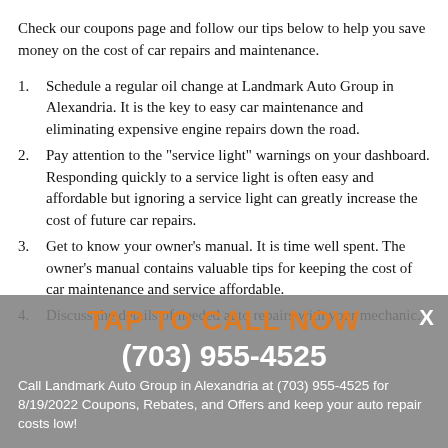Check our coupons page and follow our tips below to help you save money on the cost of car repairs and maintenance.
Schedule a regular oil change at Landmark Auto Group in Alexandria. It is the key to easy car maintenance and eliminating expensive engine repairs down the road.
Pay attention to the "service light" warnings on your dashboard. Responding quickly to a service light is often easy and affordable but ignoring a service light can greatly increase the cost of future car repairs.
Get to know your owner's manual. It is time well spent. The owner's manual contains valuable tips for keeping the cost of car maintenance and service affordable.
Discuss the details of needed auto repairs with your mechanic.
TAP TO CALL NOW
(703) 955-4525
Call Landmark Auto Group in Alexandria at (703) 955-4525 for 8/19/2022 Coupons, Rebates, and Offers and keep your auto repair costs low!